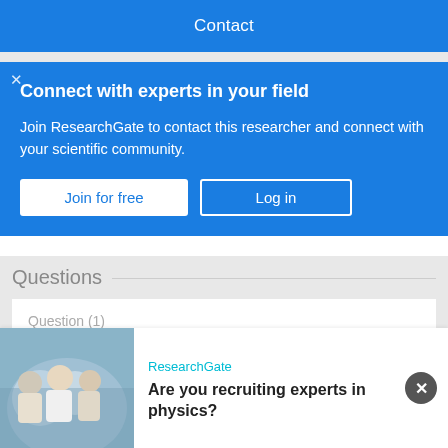Contact
Connect with experts in your field
Join ResearchGate to contact this researcher and connect with your scientific community.
Join for free | Log in
Questions
Question (1)
Advertisement
ResearchGate
Are you recruiting experts in physics?